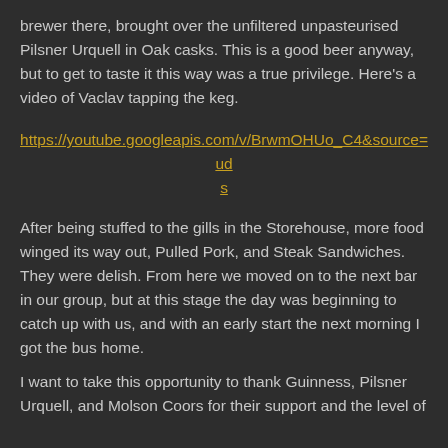brewer there, brought over the unfiltered unpasteurised Pilsner Urquell in Oak casks. This is a good beer anyway, but to get to taste it this way was a true privilege. Here's a video of Vaclav tapping the keg.
https://youtube.googleapis.com/v/BrwmOHUo_C4&source=uds
After being stuffed to the gills in the Storehouse, more food winged its way out, Pulled Pork, and Steak Sandwiches. They were delish. From here we moved on to the next bar in our group, but at this stage the day was beginning to catch up with us, and with an early start the next morning I got the bus home.
I want to take this opportunity to thank Guinness, Pilsner Urquell, and Molson Coors for their support and the level of